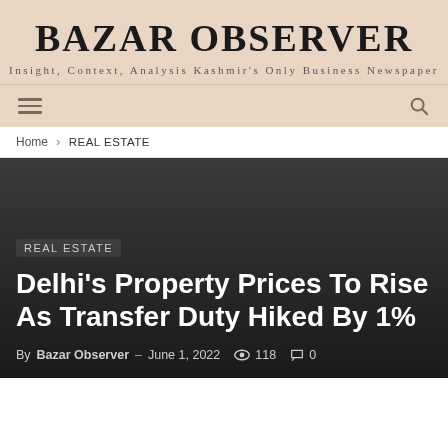BAZAR OBSERVER
Insight, Context, Analysis Kashmir's Only Business Newspaper
Home › REAL ESTATE
REAL ESTATE
Delhi's Property Prices To Rise As Transfer Duty Hiked By 1%
By Bazar Observer - June 1, 2022 118 0